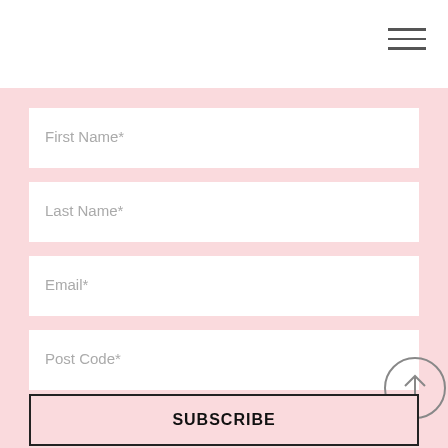[Figure (other): Hamburger menu icon with three horizontal lines in top right corner]
First Name*
Last Name*
Email*
Post Code*
SUBSCRIBE